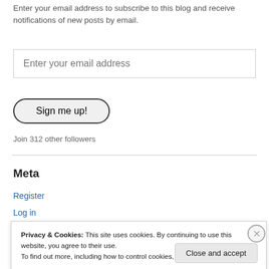Enter your email address to subscribe to this blog and receive notifications of new posts by email.
Enter your email address
Sign me up!
Join 312 other followers
Meta
Register
Log in
Privacy & Cookies: This site uses cookies. By continuing to use this website, you agree to their use. To find out more, including how to control cookies, see here: Cookie Policy
Close and accept